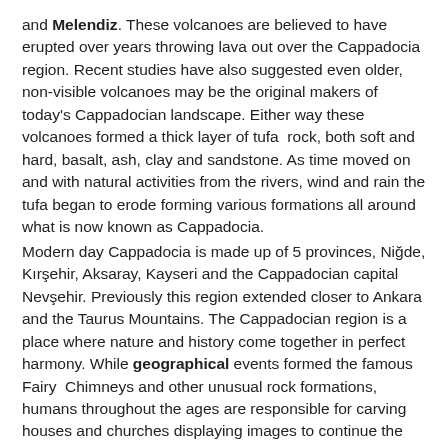and Melendiz. These volcanoes are believed to have erupted over years throwing lava out over the Cappadocia region. Recent studies have also suggested even older, non-visible volcanoes may be the original makers of today's Cappadocian landscape. Either way these volcanoes formed a thick layer of tufa  rock, both soft and hard, basalt, ash, clay and sandstone. As time moved on and with natural activities from the rivers, wind and rain the tufa began to erode forming various formations all around what is now known as Cappadocia.
Modern day Cappadocia is made up of 5 provinces, Niğde, Kırşehir, Aksaray, Kayseri and the Cappadocian capital Nevşehir. Previously this region extended closer to Ankara and the Taurus Mountains. The Cappadocian region is a place where nature and history come together in perfect harmony. While geographical events formed the famous Fairy  Chimneys and other unusual rock formations, humans throughout the ages are responsible for carving houses and churches displaying images to continue the story telling of  thousand year old civilizations.
Places to visit in Cappadocia